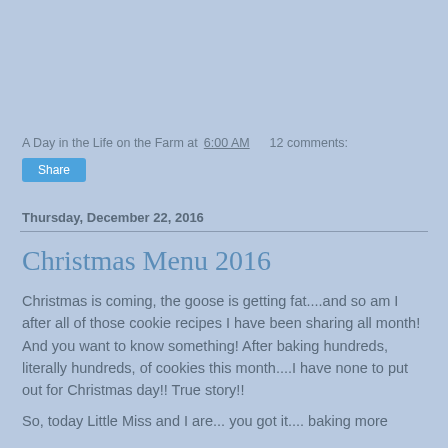[Figure (other): Advertisement or image block at top of page, light blue background]
A Day in the Life on the Farm at 6:00 AM    12 comments:
Share
Thursday, December 22, 2016
Christmas Menu 2016
Christmas is coming, the goose is getting fat....and so am I after all of those cookie recipes I have been sharing all month!  And you want to know something!  After baking hundreds, literally hundreds, of cookies this month....I have none to put out for Christmas day!!  True story!!
So, today Little Miss and I are... you got it.... baking more